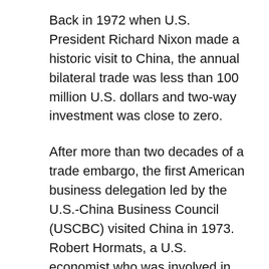Back in 1972 when U.S. President Richard Nixon made a historic visit to China, the annual bilateral trade was less than 100 million U.S. dollars and two-way investment was close to zero.
After more than two decades of a trade embargo, the first American business delegation led by the U.S.-China Business Council (USCBC) visited China in 1973. Robert Hormats, a U.S. economist who was involved in founding USCBC, described that period as "when there was virtually no trade," according to the China Business Review.
A turning point came not long after. China started its reform and opening-up in 1978 and the next year the two countries